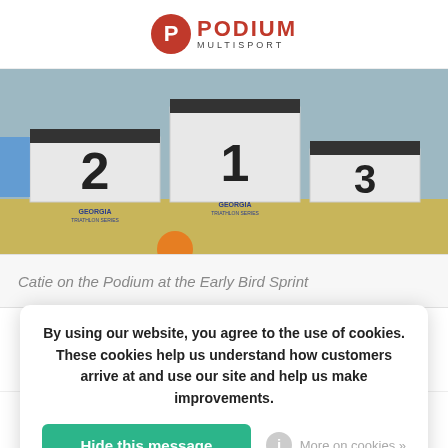PODIUM MULTISPORT
[Figure (photo): Podium stands numbered 1, 2, 3 with Georgia Triathlon Series branding on them, set on grass outdoors.]
Catie on the Podium at the Early Bird Sprint
By using our website, you agree to the use of cookies. These cookies help us understand how customers arrive at and use our site and help us make improvements.
Hide this message
More on cookies »
cramped with about 4 minutes left in the race. Not a great time to go
Navigation icons: wishlist, account, menu, search, cart (1 item)